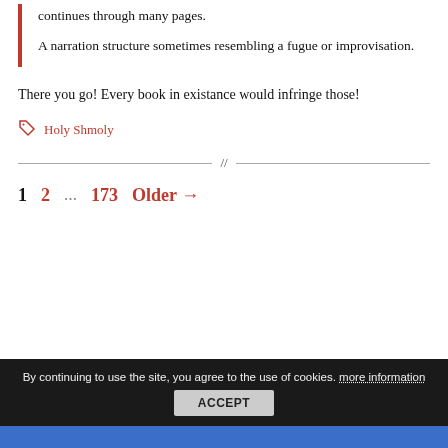continuation present or desired with narration that continues through many pages.
A narration structure sometimes resembling a fugue or improvisation.
There you go! Every book in existance would infringe those!
Holy Shmoly
1  2  ...  173  Older →
By continuing to use the site, you agree to the use of cookies. more information  ACCEPT